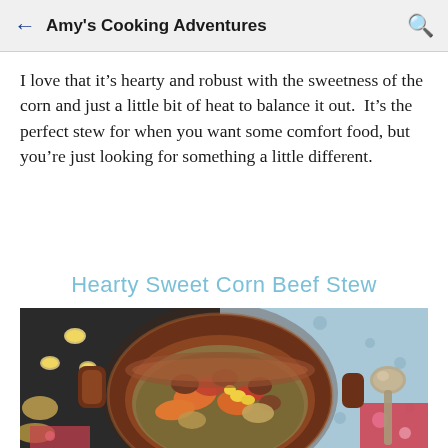Amy's Cooking Adventures
I love that it’s hearty and robust with the sweetness of the corn and just a little bit of heat to balance it out.  It’s the perfect stew for when you want some comfort food, but you’re just looking for something a little different.
Hearty Sweet Corn Beef Stew
[Figure (photo): A brown ceramic crock pot bowl filled with hearty beef stew containing carrots, corn, tomatoes, and beef chunks, served on a blue patterned cloth with a silver spoon beside it and corn pieces scattered around on a dark surface.]